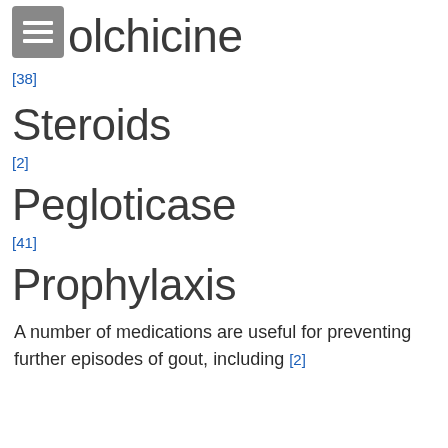Colchicine
[38]
Steroids
[2]
Pegloticase
[41]
Prophylaxis
A number of medications are useful for preventing further episodes of gout, including [2]